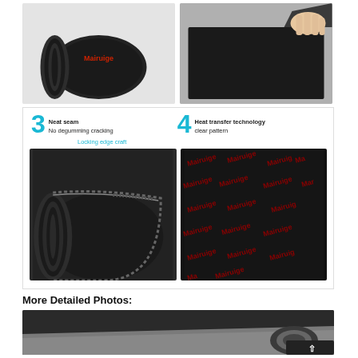[Figure (photo): Two product photos at top: left shows rolled black mouse pad with red Mairuige logo, right shows hand holding/peeling the black mouse mat]
[Figure (infographic): Feature callout panel showing: 3 Neat seam No degumming cracking, 4 Heat transfer technology clear pattern, with Locking edge craft label and two photos: left=rolled mat showing stitched edge, right=black mat surface with repeated red Mairuige brand text]
More Detailed Photos:
[Figure (photo): Close-up photo of mouse pad material showing dark fabric top surface and gray foam rubber underside, rolled edge visible]